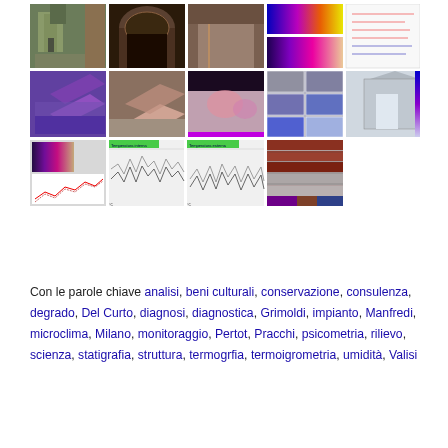[Figure (photo): Grid of images showing a historic church exterior, cave interior with frescoes, corridor/tunnel interior, thermal imaging panels (infrared), line graphs/charts, 3D thermal models, thermographic analysis maps, CFD simulation diagrams, monitoring data graphs, and material texture analysis images. All related to conservation diagnostics of cultural heritage.]
Con le parole chiave analisi, beni culturali, conservazione, consulenza, degrado, Del Curto, diagnosi, diagnostica, Grimoldi, impianto, Manfredi, microclima, Milano, monitoraggio, Pertot, Pracchi, psicometria, rilievo, scienza, statigrafia, struttura, termogrfia, termoigrometria, umidità, Valisi